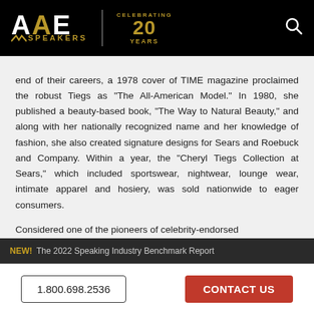[Figure (logo): AAE Speakers logo with 'Celebrating 20 Years' badge on black header bar]
end of their careers, a 1978 cover of TIME magazine proclaimed the robust Tiegs as "The All-American Model." In 1980, she published a beauty-based book, "The Way to Natural Beauty," and along with her nationally recognized name and her knowledge of fashion, she also created signature designs for Sears and Roebuck and Company. Within a year, the "Cheryl Tiegs Collection at Sears," which included sportswear, nightwear, lounge wear, intimate apparel and hosiery, was sold nationwide to eager consumers.

Considered one of the pioneers of celebrity-endorsed
NEW! The 2022 Speaking Industry Benchmark Report
1.800.698.2536
CONTACT US